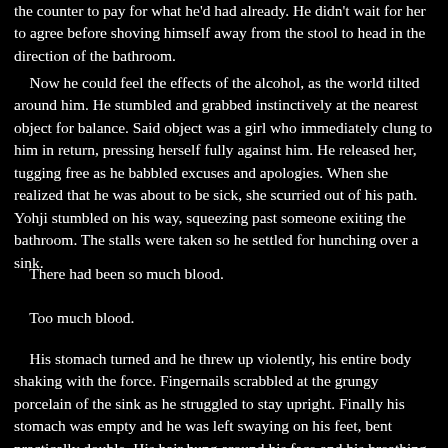the counter to pay for what he'd had already. He didn't wait for her to agree before shoving himself away from the stool to head in the direction of the bathroom.
Now he could feel the effects of the alcohol, as the world tilted around him. He stumbled and grabbed instinctively at the nearest object for balance. Said object was a girl who immediately clung to him in return, pressing herself fully against him. He released her, tugging free as he babbled excuses and apologies. When she realized that he was about to be sick, she scurried out of his path. Yohji stumbled on his way, squeezing past someone exiting the bathroom. The stalls were taken so he settled for hunching over a sink.
There had been so much blood.
Too much blood.
His stomach turned and he threw up violently, his entire body shaking with the force. Fingernails scrabbled at the grungy porcelain of the sink as he struggled to stay upright. Finally his stomach was empty and he was left swaying on his feet, bent practically double. His hair hung around his face and his breathing was hoarse. His entire body was trembling. Dimly he heard a toilet flush and someone's disgusted remarks as they darted from the